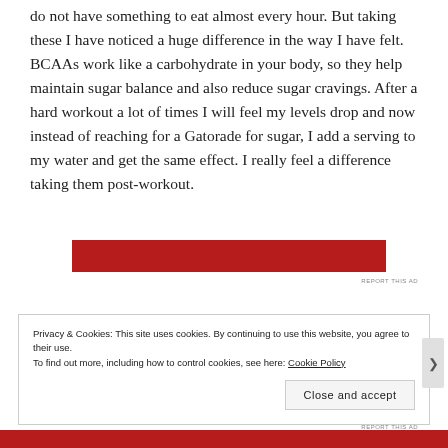do not have something to eat almost every hour. But taking these I have noticed a huge difference in the way I have felt. BCAAs work like a carbohydrate in your body, so they help maintain sugar balance and also reduce sugar cravings. After a hard workout a lot of times I will feel my levels drop and now instead of reaching for a Gatorade for sugar, I add a serving to my water and get the same effect. I really feel a difference taking them post-workout.
[Figure (other): Red advertisement banner]
Privacy & Cookies: This site uses cookies. By continuing to use this website, you agree to their use.
To find out more, including how to control cookies, see here: Cookie Policy
Close and accept